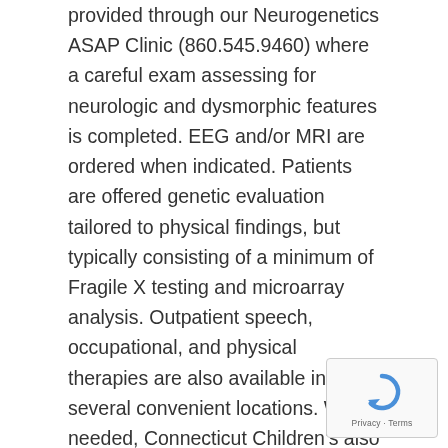provided through our Neurogenetics ASAP Clinic (860.545.9460) where a careful exam assessing for neurologic and dysmorphic features is completed. EEG and/or MRI are ordered when indicated. Patients are offered genetic evaluation tailored to physical findings, but typically consisting of a minimum of Fragile X testing and microarray analysis. Outpatient speech, occupational, and physical therapies are also available in several convenient locations. When needed, Connecticut Children's also offers several specialized evaluation clinics, including the Augmentative / Alternative Communication Clinic (860.837.5915) and the Clinical Feeding Team (860.545.8605)
[Figure (other): reCAPTCHA widget showing a recycle/refresh icon and 'Privacy - Terms' label]